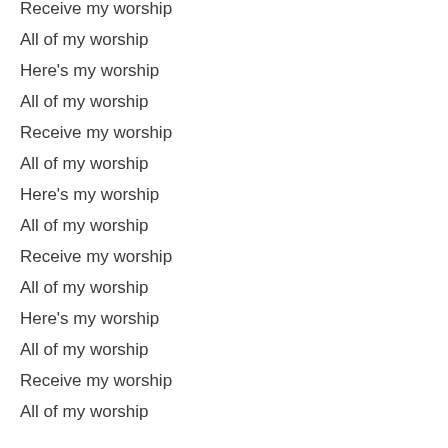Receive my worship
All of my worship
Here's my worship
All of my worship
Receive my worship
All of my worship
Here's my worship
All of my worship
Receive my worship
All of my worship
Here's my worship
All of my worship
Receive my worship
All of my worship
And I will not be silent
I will always worship You
As long as I am breathing